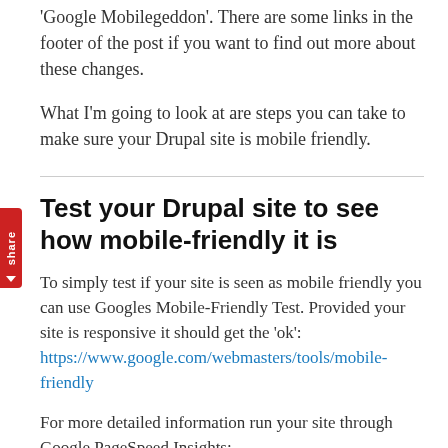'Google Mobilegeddon'. There are some links in the footer of the post if you want to find out more about these changes.
What I'm going to look at are steps you can take to make sure your Drupal site is mobile friendly.
Test your Drupal site to see how mobile-friendly it is
To simply test if your site is seen as mobile friendly you can use Googles Mobile-Friendly Test. Provided your site is responsive it should get the 'ok': https://www.google.com/webmasters/tools/mobile-friendly
For more detailed information run your site through Google PageSpeed Insights: https://developers.google.com/speed/pagespeed/insights